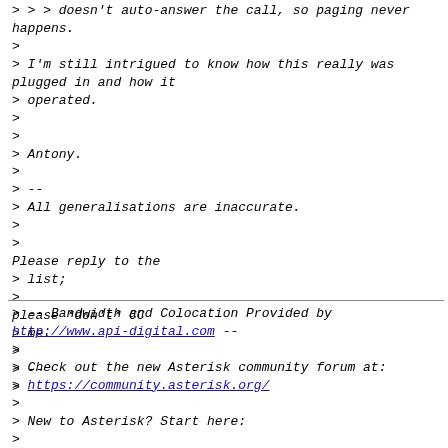> > > doesn't auto-answer the call, so paging never happens.
>
> I'm still intrigued to know how this really was plugged in and how it
> operated.
>
>
> Antony.
>
> --
> All generalisations are inaccurate.
>
>
Please reply to the
> list;
>
please *don't* CC
> me.
>
> --
>
> -- Bandwidth and Colocation Provided by http://www.api-digital.com --
>
> Check out the new Asterisk community forum at:
> https://community.asterisk.org/
>
> New to Asterisk? Start here: